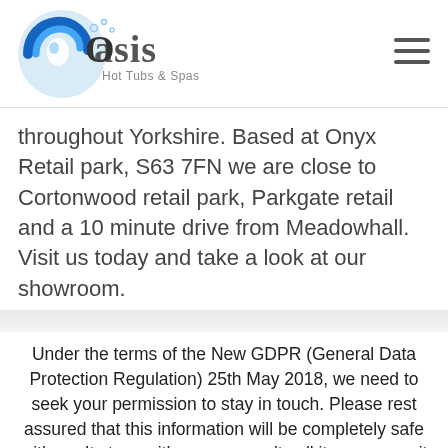[Figure (logo): Oasis Hot Tubs & Spas logo — blue circular swirl with water droplet, company name in grey text]
throughout Yorkshire. Based at Onyx Retail park, S63 7FN we are close to Cortonwood retail park, Parkgate retail and a 10 minute drive from Meadowhall. Visit us today and take a look at our showroom.
Under the terms of the New GDPR (General Data Protection Regulation) 25th May 2018, we need to seek your permission to stay in touch. Please rest assured that this information will be completely safe with us. It stays with us - we won't sell it on or pass it to any third party in any shape or form.